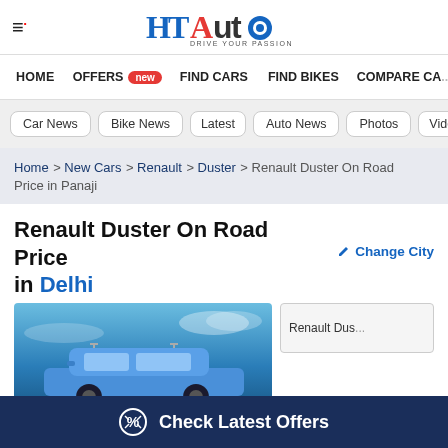HT Auto - Drive Your Passion
HOME | OFFERS new | FIND CARS | FIND BIKES | COMPARE CA...
Car News | Bike News | Latest | Auto News | Photos | Videos
Home > New Cars > Renault > Duster > Renault Duster On Road Price in Panaji
Renault Duster On Road Price in Delhi
Change City
[Figure (photo): Renault Duster car image on blue sky background; thumbnail of Renault Duster on right side]
Check Latest Offers